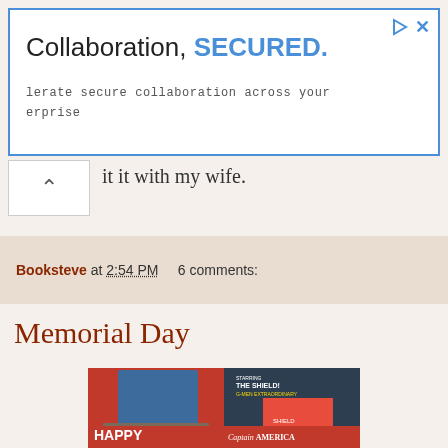[Figure (screenshot): Advertisement banner with blue border. Text reads 'Collaboration, SECURED.' with subtitle 'lerate secure collaboration across your erprise']
it it with my wife.
Booksteve at 2:54 PM    6 comments:
Memorial Day
[Figure (photo): Comic book collage showing Captain Flag and the American Eagle Yank (top left), The Shield G-Men Extraordinary (top right), and Captain America A Republic Serial in 15 Chapters Chapter 1 The Purple Death (bottom right), with HAPPY text at bottom left]